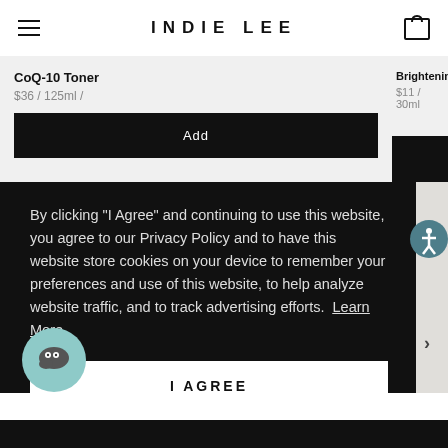INDIE LEE
CoQ-10 Toner
$36 / 125ml /
Add
Brightening
$11 / 30ml
By clicking "I Agree" and continuing to use this website, you agree to our Privacy Policy and to have this website store cookies on your device to remember your preferences and use of this website, to help analyze website traffic, and to track advertising efforts. Learn More
I AGREE